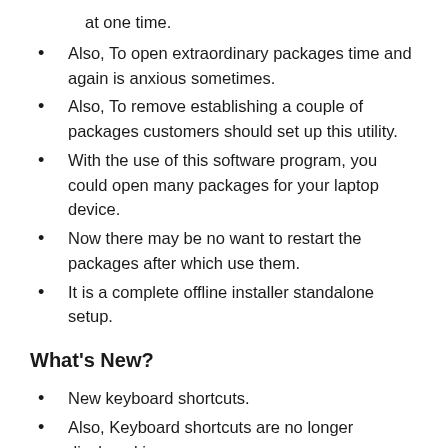at one time.
Also, To open extraordinary packages time and again is anxious sometimes.
Also, To remove establishing a couple of packages customers should set up this utility.
With the use of this software program, you could open many packages for your laptop device.
Now there may be no want to restart the packages after which use them.
It is a complete offline installer standalone setup.
What's New?
New keyboard shortcuts.
Also, Keyboard shortcuts are no longer displayed in